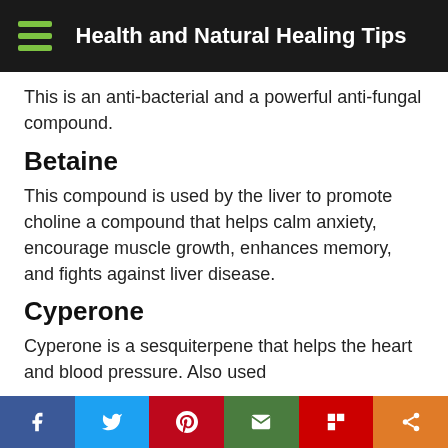Health and Natural Healing Tips
This is an anti-bacterial and a powerful anti-fungal compound.
Betaine
This compound is used by the liver to promote choline a compound that helps calm anxiety, encourage muscle growth, enhances memory, and fights against liver disease.
Cyperone
Cyperone is a sesquiterpene that helps the heart and blood pressure. Also used
Social sharing bar: Facebook, Twitter, Pinterest, Email, Flipboard, Share